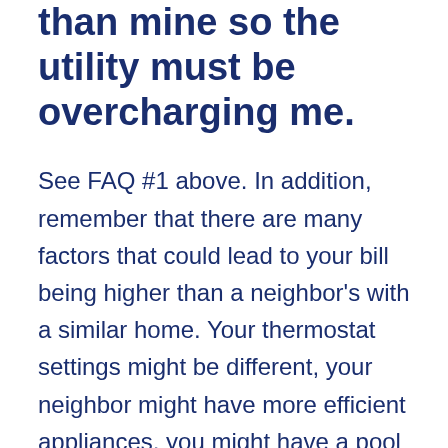than mine so the utility must be overcharging me.
See FAQ #1 above. In addition, remember that there are many factors that could lead to your bill being higher than a neighbor's with a similar home. Your thermostat settings might be different, your neighbor might have more efficient appliances, you might have a pool pump running and your neighbor may not have one at all or may run her's less, something might be in need of repair and running